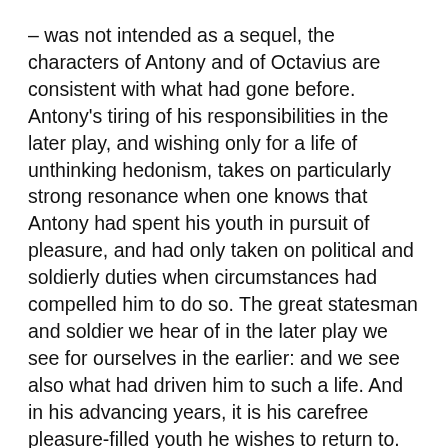– was not intended as a sequel, the characters of Antony and of Octavius are consistent with what had gone before. Antony's tiring of his responsibilities in the later play, and wishing only for a life of unthinking hedonism, takes on particularly strong resonance when one knows that Antony had spent his youth in pursuit of pleasure, and had only taken on political and soldierly duties when circumstances had compelled him to do so. The great statesman and soldier we hear of in the later play we see for ourselves in the earlier: and we see also what had driven him to such a life. And in his advancing years, it is his carefree pleasure-filled youth he wishes to return to.
The production, I thought, is tremendous. Alex Waldman plays Brutus here is a self-obsessed prig that I now see him to be, and Martin Hutson's Cassius is overtly neurotic. And in his advancing years...